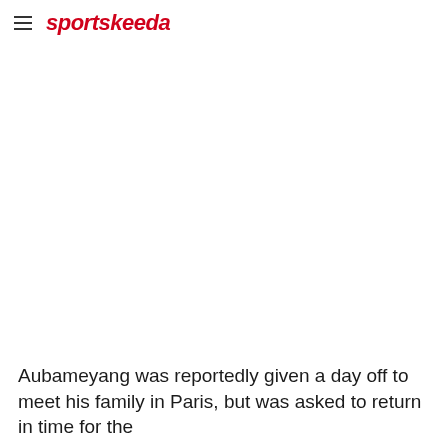sportskeeda
[Figure (photo): Large image area, mostly white/blank in the visible portion of the page]
Aubameyang was reportedly given a day off to meet his family in Paris, but was asked to return in time for the